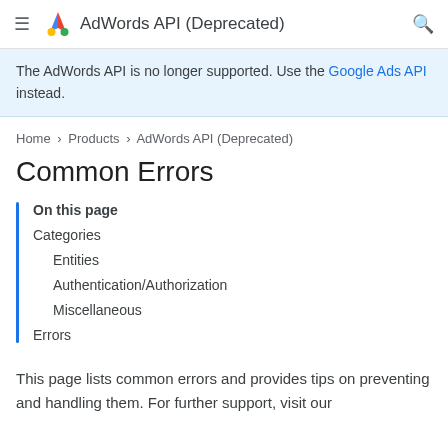≡ AdWords API (Deprecated) 🔍
The AdWords API is no longer supported. Use the Google Ads API instead.
Home > Products > AdWords API (Deprecated)
Common Errors
On this page
Categories
Entities
Authentication/Authorization
Miscellaneous
Errors
This page lists common errors and provides tips on preventing and handling them. For further support, visit our